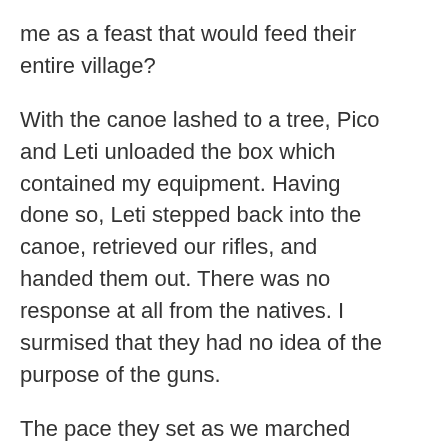me as a feast that would feed their entire village?
With the canoe lashed to a tree, Pico and Leti unloaded the box which contained my equipment. Having done so, Leti stepped back into the canoe, retrieved our rifles, and handed them out. There was no response at all from the natives. I surmised that they had no idea of the purpose of the guns.
The pace they set as we marched through the nearly impassable flora was tiring. Within a mile of the river, we were walking gradually uphill. When we reached the top, I couldn't believe my eyes. The village was constructed on a wide, vast plateau. Hundreds of small structures surrounded three large central buildings. It was the most elaborate and sophisticated jungle community I had ever seen.
A small crowd of Unomo had gathered to investigate